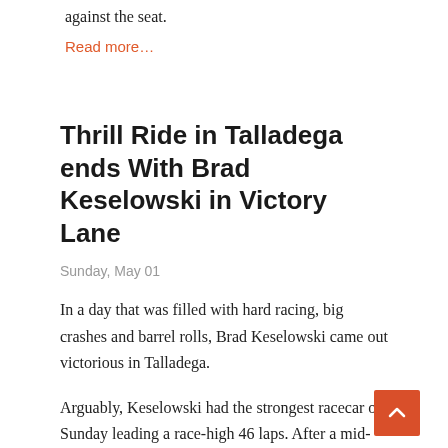against the seat.
Read more…
Thrill Ride in Talladega ends With Brad Keselowski in Victory Lane
Sunday, May 01
In a day that was filled with hard racing, big crashes and barrel rolls, Brad Keselowski came out victorious in Talladega.
Arguably, Keselowski had the strongest racecar on Sunday leading a race-high 46 laps. After a mid-race pit stop that forced his hand and go toward the rear of the top 10 the last 20 laps, the No. 2 car established itself as the one to beat.
“This Fusion was hauling,” Keselowski said. “That’s one of